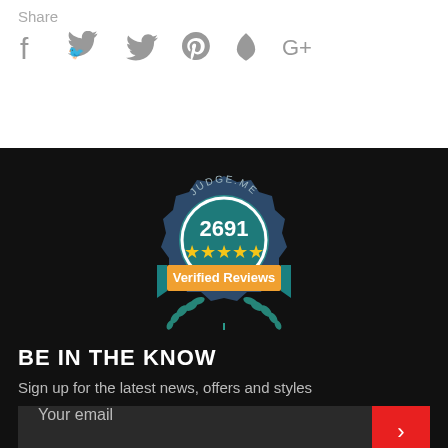Share
[Figure (infographic): Social media share icons: Facebook (f), Twitter (bird), Pinterest (P), Feedly (leaf), Google+]
[Figure (infographic): Judge.me badge: teal/dark blue gear badge with 2691 in white text, 5 yellow stars, orange banner reading 'Verified Reviews', teal ribbon and laurel wreath at bottom]
BE IN THE KNOW
Sign up for the latest news, offers and styles
Your email